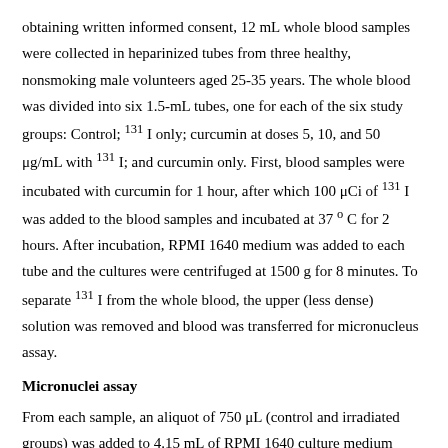obtaining written informed consent, 12 mL whole blood samples were collected in heparinized tubes from three healthy, nonsmoking male volunteers aged 25-35 years. The whole blood was divided into six 1.5-mL tubes, one for each of the six study groups: Control; 131I only; curcumin at doses 5, 10, and 50 μg/mL with 131I; and curcumin only. First, blood samples were incubated with curcumin for 1 hour, after which 100 μCi of 131I was added to the blood samples and incubated at 37 o C for 2 hours. After incubation, RPMI 1640 medium was added to each tube and the cultures were centrifuged at 1500 g for 8 minutes. To separate 131I from the whole blood, the upper (less dense) solution was removed and blood was transferred for micronucleus assay.
Micronuclei assay
From each sample, an aliquot of 750 μL (control and irradiated groups) was added to 4.15 mL of RPMI 1640 culture medium (Gibco, USA), which contained 10% fetal calf serum, 0.1 mL/5 mL phytohemagglutinin (Gibco, USA), antibiotics (penicillin 100 IU/mL, streptomycin 100 μg/mL), and 2 mM glutamine (Sigma, USA) at final concentration. All cultures were set up in duplicate and incubated at 37 ± 1°C in a humidified atmosphere of 5% CO 2, 95% air. Cytochalasin B